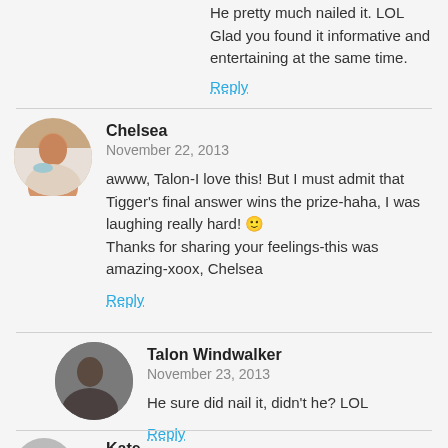He pretty much nailed it. LOL Glad you found it informative and entertaining at the same time.
Reply
Chelsea
November 22, 2013
awww, Talon-I love this! But I must admit that Tigger's final answer wins the prize-haha, I was laughing really hard! 🙂
Thanks for sharing your feelings-this was amazing-xoox, Chelsea
Reply
Talon Windwalker
November 23, 2013
He sure did nail it, didn't he? LOL
Reply
Kate
November 22, 2013